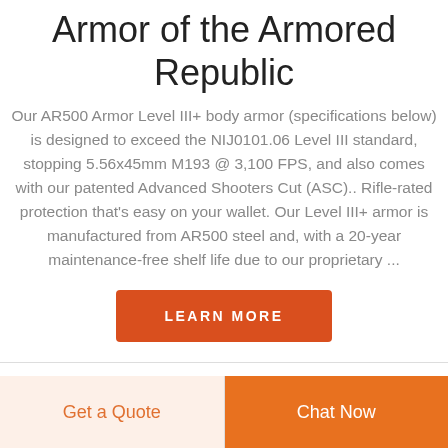Armor of the Armored Republic
Our AR500 Armor Level III+ body armor (specifications below) is designed to exceed the NIJ0101.06 Level III standard, stopping 5.56x45mm M193 @ 3,100 FPS, and also comes with our patented Advanced Shooters Cut (ASC).. Rifle-rated protection that's easy on your wallet. Our Level III+ armor is manufactured from AR500 steel and, with a 20-year maintenance-free shelf life due to our proprietary ...
LEARN MORE
Get a Quote
Chat Now